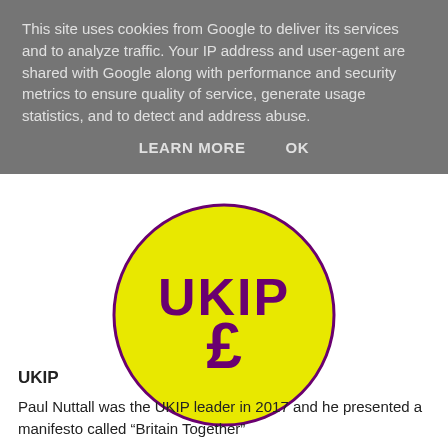This site uses cookies from Google to deliver its services and to analyze traffic. Your IP address and user-agent are shared with Google along with performance and security metrics to ensure quality of service, generate usage statistics, and to detect and address abuse.
LEARN MORE    OK
[Figure (logo): UKIP logo: yellow circle with purple UKIP text and purple pound sterling symbol]
UKIP
Paul Nuttall was the UKIP leader in 2017 and he presented a manifesto called “Britain Together”